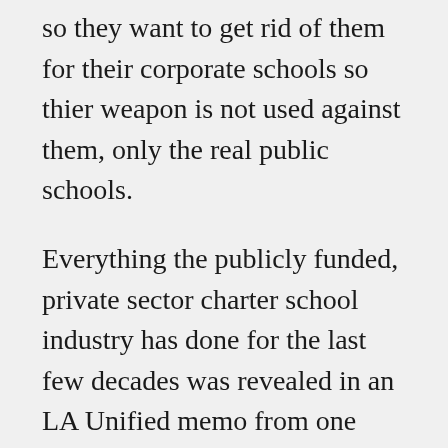so they want to get rid of them for their corporate schools so thier weapon is not used against them, only the real public schools.
Everything the publicly funded, private sector charter school industry has done for the last few decades was revealed in an LA Unified memo from one board member who supporters the charters of the public schools:
One memo reveals that the charter school industry set a goal that they were going to close every public school in California and replace them with their corporate charter schools by 2030.